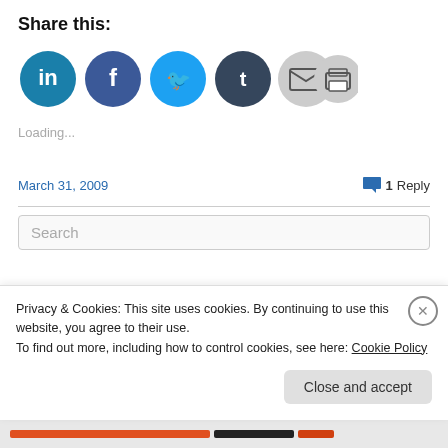Share this:
[Figure (infographic): Row of six social share icon circles: LinkedIn (teal), Facebook (blue), Twitter (light blue), Tumblr (dark navy), Email (gray), Print (gray)]
Loading...
March 31, 2009    💬 1 Reply
Search
Privacy & Cookies: This site uses cookies. By continuing to use this website, you agree to their use.
To find out more, including how to control cookies, see here: Cookie Policy
Close and accept